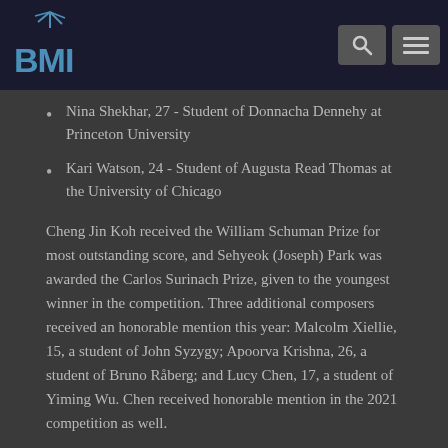BMI
Nina Shekhar, 27 - Student of Donnacha Dennehy at Princeton University
Kari Watson, 24 - Student of Augusta Read Thomas at the University of Chicago
Cheng Jin Koh received the William Schuman Prize for most outstanding score, and Sehyeok (Joseph) Park was awarded the Carlos Surinach Prize, given to the youngest winner in the competition. Three additional composers received an honorable mention this year: Malcolm Xiellie, 15, a student of John Syzygy; Apoorva Krishna, 26, a student of Bruno Råberg; and Lucy Chen, 17, a student of Yiming Wu. Chen received honorable mention in the 2021 competition as well.
Alexandra du Bois, Carlos Carrillo and Jeremy Gill served as preliminary judges this year. The final judges were Oscar Bettison, Han Lash, José Serebrier and Matthew Evan Taylor.  The